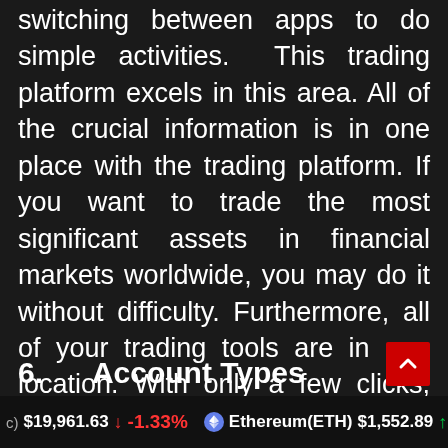switching between apps to do simple activities. This trading platform excels in this area. All of the crucial information is in one place with the trading platform. If you want to trade the most significant assets in financial markets worldwide, you may do it without difficulty. Furthermore, all of your trading tools are in one location. With only a few clicks, you may enter and execute trading.
6.     Account Types
c) $19,961.63 ↓ -1.33%   Ethereum(ETH) $1,552.89 ↑ 0.